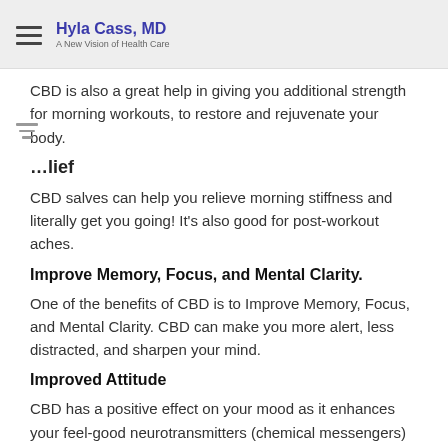Hyla Cass, MD — A New Vision of Health Care
CBD is also a great help in giving you additional strength for morning workouts, to restore and rejuvenate your body.
...lief
CBD salves can help you relieve morning stiffness and literally get you going! It's also good for post-workout aches.
Improve Memory, Focus, and Mental Clarity.
One of the benefits of CBD is to Improve Memory, Focus, and Mental Clarity. CBD can make you more alert, less distracted, and sharpen your mind.
Improved Attitude
CBD has a positive effect on your mood as it enhances your feel-good neurotransmitters (chemical messengers) dopamine and serotonin.